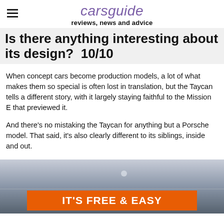carsguide reviews, news and advice
Is there anything interesting about its design?  10/10
When concept cars become production models, a lot of what makes them so special is often lost in translation, but the Taycan tells a different story, with it largely staying faithful to the Mission E that previewed it.
And there's no mistaking the Taycan for anything but a Porsche model. That said, it's also clearly different to its siblings, inside and out.
[Figure (photo): Advertisement image with orange banner reading IT'S FREE & EASY over a muted ocean/sky background]